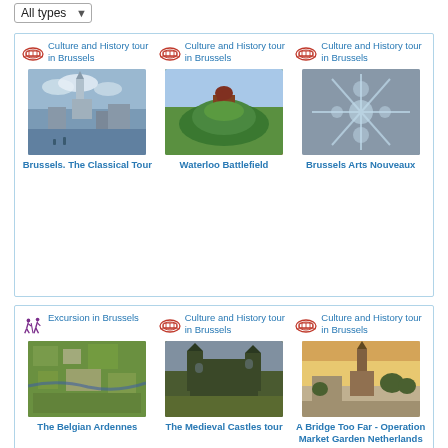All types
[Figure (screenshot): Top section with three 'Culture and History tour in Brussels' listings with colosseum icons, then three tour images: Brussels The Classical Tour, Waterloo Battlefield, Brussels Arts Nouveaux]
Brussels. The Classical Tour
Waterloo Battlefield
Brussels Arts Nouveaux
[Figure (screenshot): Bottom section with Excursion in Brussels (walkers icon), Culture and History tour in Brussels (x2), then three images: The Belgian Ardennes, The Medieval Castles tour, A Bridge Too Far - Operation Market Garden Netherlands]
The Belgian Ardennes
The Medieval Castles tour
A Bridge Too Far - Operation Market Garden Netherlands